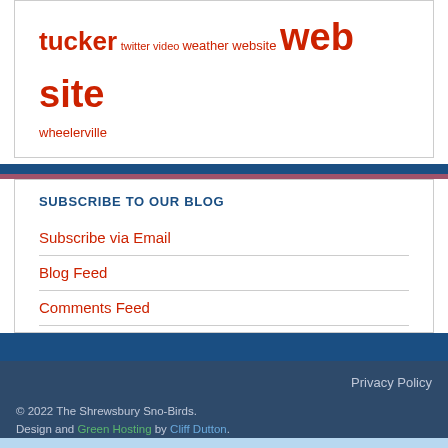tucker twitter video weather website web site wheelerville
SUBSCRIBE TO OUR BLOG
Subscribe via Email
Blog Feed
Comments Feed
Privacy Policy
© 2022 The Shrewsbury Sno-Birds.
Design and Green Hosting by Cliff Dutton.